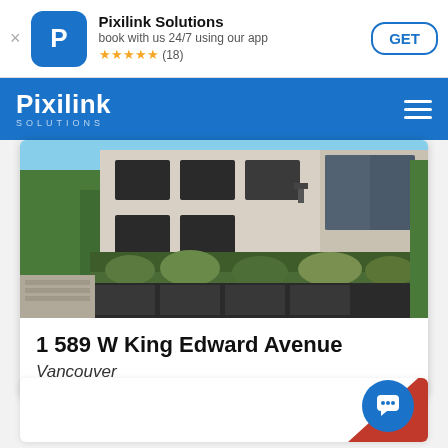Pixilink Solutions — book with us 24/7 using our app — ★★★★★ (18) — GET
Pixilink SOLUTIONS
[Figure (photo): Exterior photo of a modern white brick apartment building with dark-framed windows, a green hedge fence, black metal railings, and trees in the background under a blue sky.]
1 589 W King Edward Avenue
Vancouver